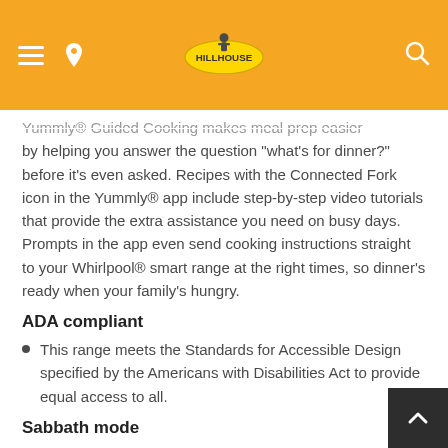Hillhouse logo header with navigation icons
Yummly® Guided Cooking makes meal prep easier by helping you answer the question "what's for dinner?" before it's even asked. Recipes with the Connected Fork icon in the Yummly® app include step-by-step video tutorials that provide the extra assistance you need on busy days. Prompts in the app even send cooking instructions straight to your Whirlpool® smart range at the right times, so dinner's ready when your family's hungry.
ADA compliant
This range meets the Standards for Accessible Design specified by the Americans with Disabilities Act to provide equal access to all.
Sabbath mode
Use Sabbath mode to keep the oven on the "Bake